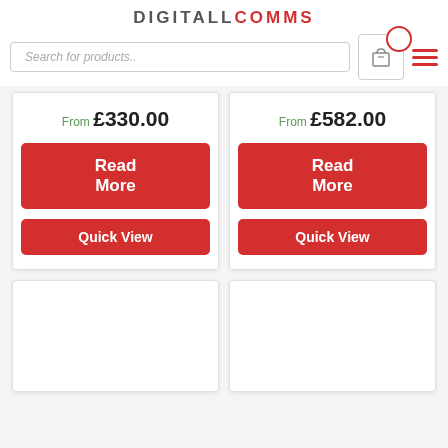[Figure (logo): DIGITALLCOMMS logo with DIGITALL in dark gray and COMMS in red]
[Figure (screenshot): Search bar with placeholder text 'Search for products..']
From £330.00
Read More
Quick View
From £582.00
Read More
Quick View